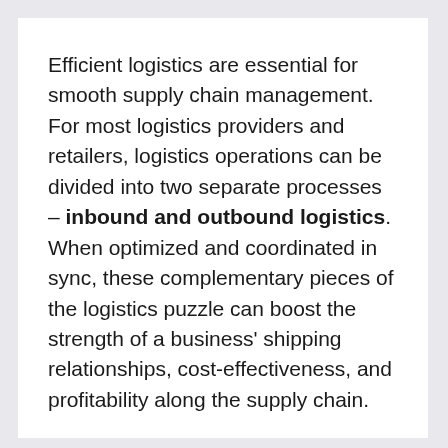Efficient logistics are essential for smooth supply chain management. For most logistics providers and retailers, logistics operations can be divided into two separate processes – inbound and outbound logistics. When optimized and coordinated in sync, these complementary pieces of the logistics puzzle can boost the strength of a business' shipping relationships, cost-effectiveness, and profitability along the supply chain.
But attention to these shipping processes doesn't just clear pathways to upward growth. With well-oiled inbound and outbound logistics models, it's also easier for companies to respond to changes quickly and overcome